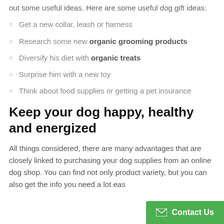out some useful ideas. Here are some useful dog gift ideas:
Get a new collar, leash or harness
Research some new organic grooming products
Diversify his diet with organic treats
Surprise him with a new toy
Think about food supplies or getting a pet insurance
Keep your dog happy, healthy and energized
All things considered, there are many advantages that are closely linked to purchasing your dog supplies from an online dog shop. You can find not only product variety, but you can also get the info you need a lot eas...